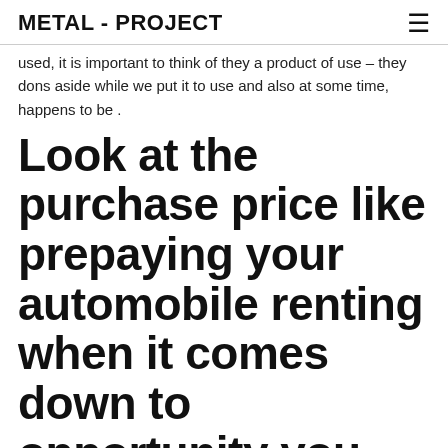METAL - PROJECT
used, it is important to think of they a product of use – they dons aside while we put it to use and also at some time, happens to be .
Look at the purchase price like prepaying your automobile renting when it comes down to opportunity you are